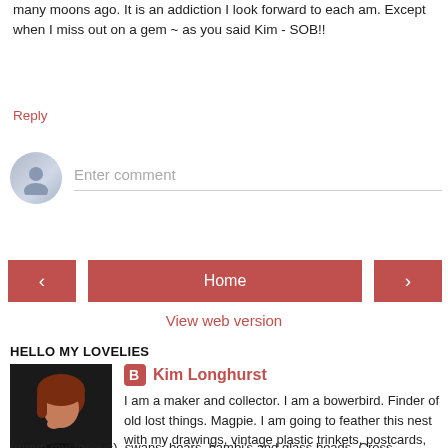many moons ago. It is an addiction I look forward to each am. Except when I miss out on a gem ~ as you said Kim - SOB!!
Reply
[Figure (other): User avatar placeholder circle with silhouette icon, and an Enter comment input field below]
[Figure (other): Navigation buttons: left arrow, Home button, right arrow]
View web version
HELLO MY LOVELIES
[Figure (photo): Photo of Kim Longhurst, a woman with red hair, dark background]
Kim Longhurst
I am a maker and collector. I am a bowerbird. Finder of old lost things. Magpie. I am going to feather this nest with my drawings, vintage plastic trinkets, postcards, strange folk tales, charms, ephemera (mmm mysterious), swans, bears, bambi's and glass beads. Cross